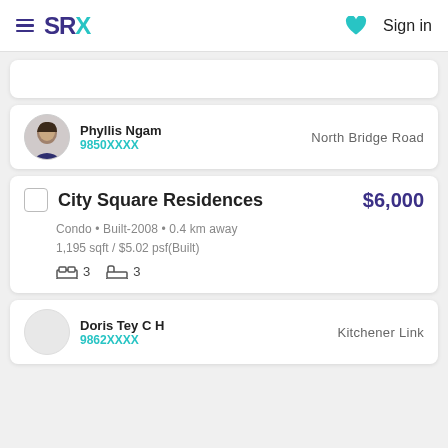SRX  Sign in
Phyllis Ngam • 9850XXXX • North Bridge Road
City Square Residences  $6,000
Condo • Built-2008 • 0.4 km away
1,195 sqft / $5.02 psf(Built)
🛏 3  🛁 3
Doris Tey C H • 9862XXXX • Kitchener Link